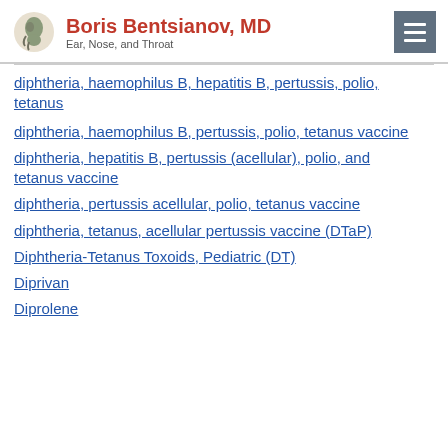Boris Bentsianov, MD — Ear, Nose, and Throat
diphtheria, haemophilus B, hepatitis B, pertussis, polio, tetanus
diphtheria, haemophilus B, pertussis, polio, tetanus vaccine
diphtheria, hepatitis B, pertussis (acellular), polio, and tetanus vaccine
diphtheria, pertussis acellular, polio, tetanus vaccine
diphtheria, tetanus, acellular pertussis vaccine (DTaP)
Diphtheria-Tetanus Toxoids, Pediatric (DT)
Diprivan
Diprolene